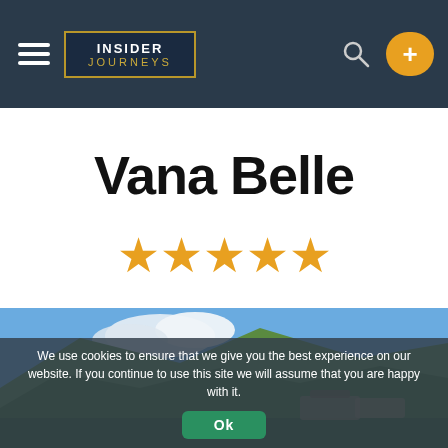[Figure (logo): Insider Journeys logo in dark blue box with gold border, with hamburger menu on left, search icon and plus button on right in dark navigation bar]
Vana Belle
[Figure (other): Five gold star rating symbols]
[Figure (photo): Aerial photo of a luxury resort surrounded by tropical green hills and trees, with thatched-roof buildings near the coast]
We use cookies to ensure that we give you the best experience on our website. If you continue to use this site we will assume that you are happy with it.
Ok